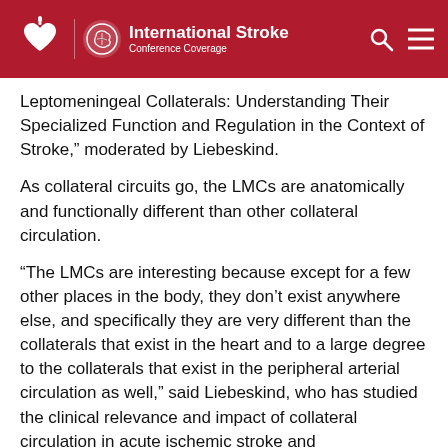International Stroke Conference Coverage
Leptomeningeal Collaterals: Understanding Their Specialized Function and Regulation in the Context of Stroke,” moderated by Liebeskind.
As collateral circuits go, the LMCs are anatomically and functionally different than other collateral circulation.
“The LMCs are interesting because except for a few other places in the body, they don’t exist anywhere else, and specifically they are very different than the collaterals that exist in the heart and to a large degree to the collaterals that exist in the peripheral arterial circulation as well,” said Liebeskind, who has studied the clinical relevance and impact of collateral circulation in acute ischemic stroke and